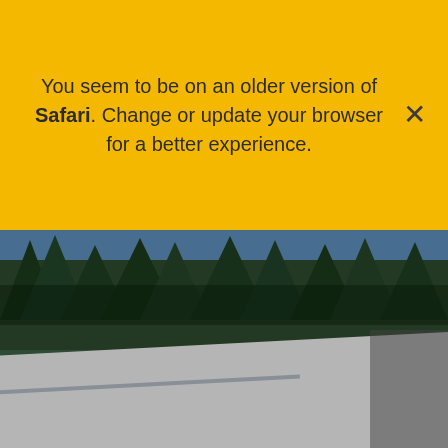You seem to be on an older version of Safari. Change or update your browser for a better experience.
[Figure (photo): Outdoor photograph showing a flat white roof in the foreground with green conifer trees and blue sky in the background. In the lower portion, a white card with a green panel displays the text 'Flat Roof' and 'Residential roofing'.]
Flat Roof
Residential roofing